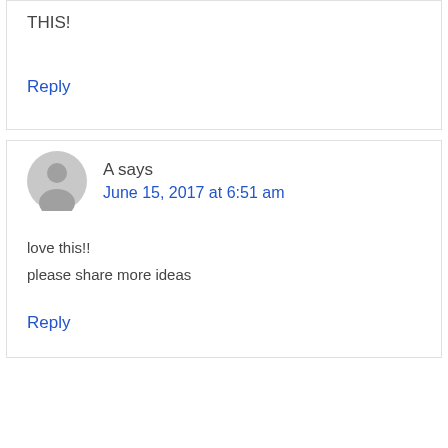THIS!
Reply
A says
June 15, 2017 at 6:51 am
love this!!
please share more ideas
Reply